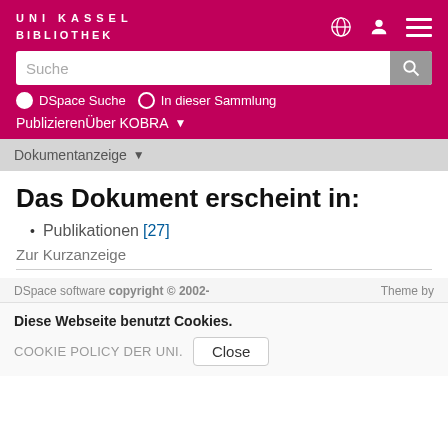UNI KASSEL BIBLIOTHEK
Suche
DSpace Suche  In dieser Sammlung
Publizieren  Über KOBRA
Dokumentanzeige
Das Dokument erscheint in:
Publikationen [27]
Zur Kurzanzeige
DSpace software copyright © 2002-    Theme by
Diese Webseite benutzt Cookies.
COOKIE POLICY DER UNI.  Close